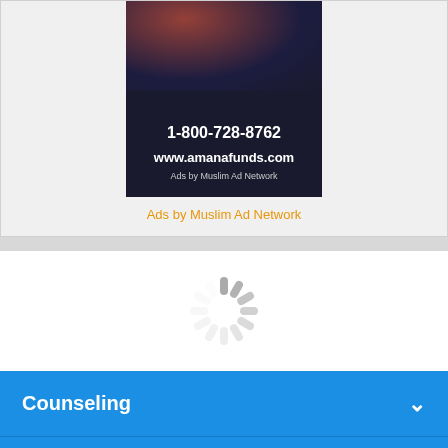[Figure (screenshot): Advertisement banner showing phone number 1-800-728-8762, website www.amanafunds.com, and label 'Ads by Muslim Ad Network' on dark background]
Ads by Muslim Ad Network
[Figure (other): Loading spinner (animated circular indicator) on white background]
Counseling
Sections